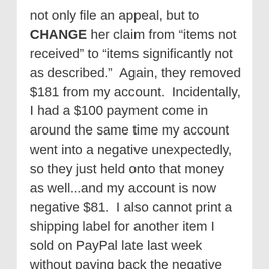not only file an appeal, but to CHANGE her claim from “items not received” to “items significantly not as described.”  Again, they removed $181 from my account.  Incidentally, I had a $100 payment come in around the same time my account went into a negative unexpectedly, so they just held onto that money as well...and my account is now negative $81.  I also cannot print a shipping label for another item I sold on PayPal late last week without paying back the negative balance.  This put a HUGE financial strain on me, as it’s the end of the month and my personal account doesn’t have much $ in it.  I was counting on being able to transfer that